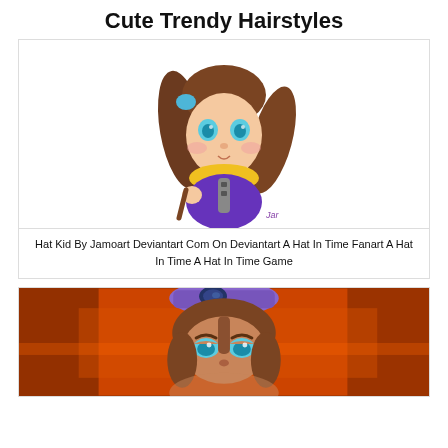Cute Trendy Hairstyles
[Figure (illustration): Chibi cartoon illustration of Hat Kid character with brown pigtails, blue eyes, yellow scarf, and purple jacket holding an umbrella]
Hat Kid By Jamoart Deviantart Com On Deviantart A Hat In Time Fanart A Hat In Time A Hat In Time Game
[Figure (screenshot): 3D game screenshot of Hat Kid character close-up with brown hair, blue eyes, and a purple hat with goggles, orange background]